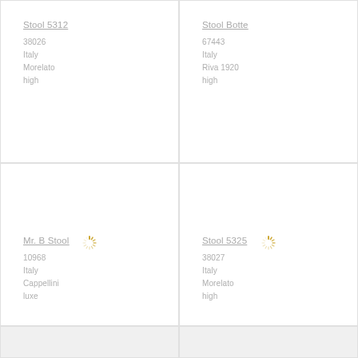Stool 5312
38026
Italy
Morelato
high
Stool Botte
67443
Italy
Riva 1920
high
[Figure (illustration): Loading spinner icon (gold/yellow sunburst), image loading placeholder]
[Figure (illustration): Loading spinner icon (gold/yellow sunburst), image loading placeholder]
Mr. B Stool
10968
Italy
Cappellini
luxe
Stool 5325
38027
Italy
Morelato
high